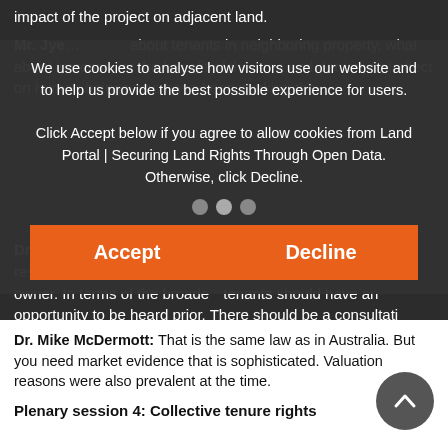impact of the project on adjacent land.
Mr. Iye… tenants in neighboring property, what about increase for the benefit of the area and detrimental affect on human beings who have been working the…
Dr. Rachel Walsh. In Ireland, there are no entitlements for residential affected tenants. Compensation is only for the owner. In terms of the broader… tenants should have an opportunity to be heard prior. There should be a consultation… there a right to be heard.
[Figure (screenshot): Cookie consent overlay dialog with Accept and Decline buttons, navigation arrows, and dots indicator]
Dr. Mike McDermott: That is the same law as in Australia. But you need market evidence that is sophisticated. Valuation reasons were also prevalent at the time.
Plenary session 4: Collective tenure rights